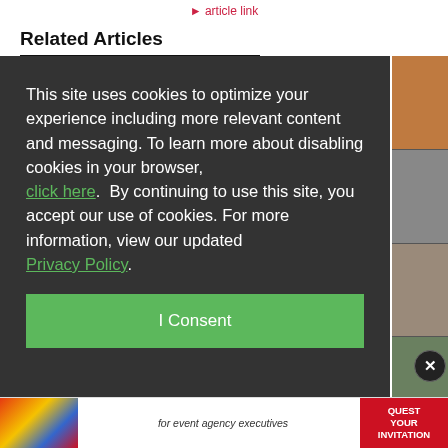Related Articles
Related Articles
This site uses cookies to optimize your experience including more relevant content and messaging. To learn more about disabling cookies in your browser, click here. By continuing to use this site, you accept our use of cookies. For more information, view our updated Privacy Policy.
I Consent
[Figure (photo): Partial view of related article thumbnail images on the right side]
[Figure (photo): Advertisement banner at the bottom for event agency executives with colorful logo and red REQUEST YOUR INVITATION section]